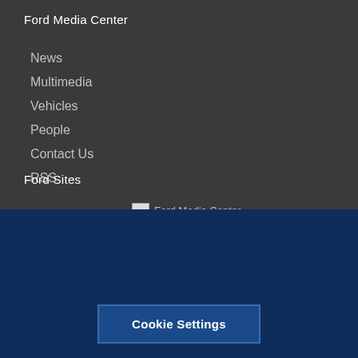Ford Media Center
News
Multimedia
Vehicles
People
Contact Us
RSS
Ford Sites
[Figure (illustration): Broken image placeholder with alt text 'Ford Media Center']
This website uses cookies to enhance user experience and to analyze performance and traffic on our website. We also share information about your use of our site with our social media, advertising, and analytics partners. Privacy Policy
Cookie Settings